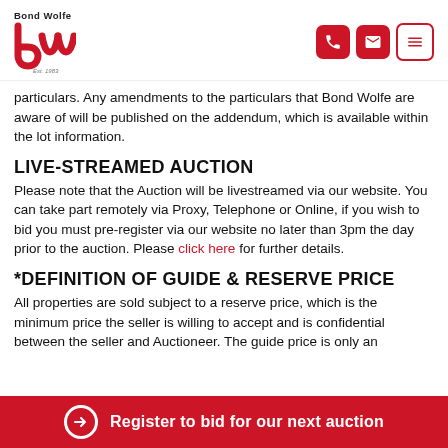Bond Wolfe — Logo, phone, email, and menu icons
particulars. Any amendments to the particulars that Bond Wolfe are aware of will be published on the addendum, which is available within the lot information.
LIVE-STREAMED AUCTION
Please note that the Auction will be livestreamed via our website. You can take part remotely via Proxy, Telephone or Online, if you wish to bid you must pre-register via our website no later than 3pm the day prior to the auction. Please click here for further details.
*DEFINITION OF GUIDE & RESERVE PRICE
All properties are sold subject to a reserve price, which is the minimum price the seller is willing to accept and is confidential between the seller and Auctioneer. The guide price is only an i... y t...
→ Register to bid for our next auction